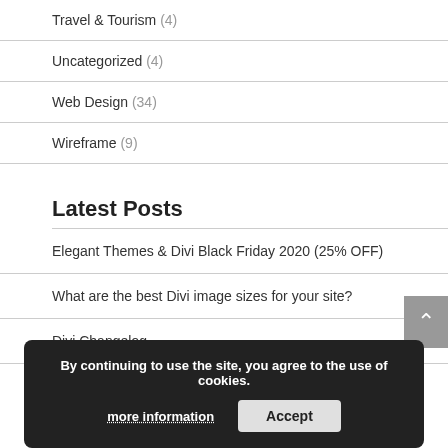Travel & Tourism (4)
Uncategorized (4)
Web Design (34)
Wireframe (9)
Latest Posts
Elegant Themes & Divi Black Friday 2020 (25% OFF)
What are the best Divi image sizes for your site?
Divi Changelog
By continuing to use the site, you agree to the use of cookies. more information Accept